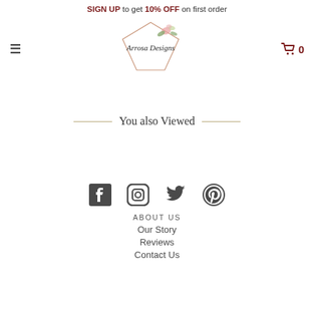SIGN UP to get 10% OFF on first order
[Figure (logo): Arrosa Designs floral geometric logo with script text]
You also Viewed
[Figure (infographic): Social media icons: Facebook, Instagram, Twitter, Pinterest]
ABOUT US
Our Story
Reviews
Contact Us